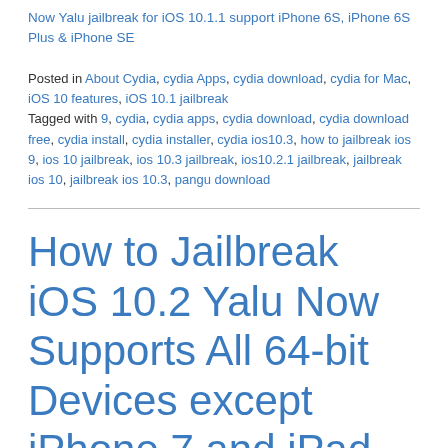Now Yalu jailbreak for iOS 10.1.1 support iPhone 6S, iPhone 6S Plus & iPhone SE
Posted in About Cydia, cydia Apps, cydia download, cydia for Mac, iOS 10 features, iOS 10.1 jailbreak Tagged with 9, cydia, cydia apps, cydia download, cydia download free, cydia install, cydia installer, cydia ios10.3, how to jailbreak ios 9, ios 10 jailbreak, ios 10.3 jailbreak, ios10.2.1 jailbreak, jailbreak ios 10, jailbreak ios 10.3, pangu download
How to Jailbreak iOS 10.2 Yalu Now Supports All 64-bit Devices except iPhone 7 and iPad Air 2